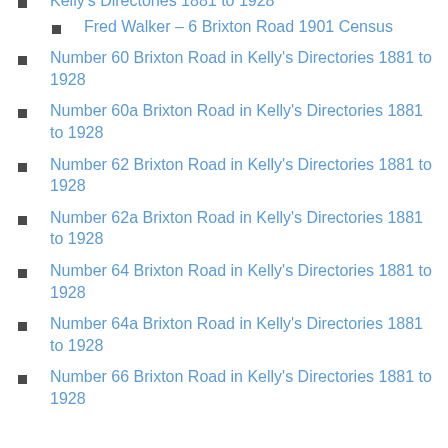Kelly's Directories 1881 to 1928
Fred Walker – 6 Brixton Road 1901 Census
Number 60 Brixton Road in Kelly's Directories 1881 to 1928
Number 60a Brixton Road in Kelly's Directories 1881 to 1928
Number 62 Brixton Road in Kelly's Directories 1881 to 1928
Number 62a Brixton Road in Kelly's Directories 1881 to 1928
Number 64 Brixton Road in Kelly's Directories 1881 to 1928
Number 64a Brixton Road in Kelly's Directories 1881 to 1928
Number 66 Brixton Road in Kelly's Directories 1881 to 1928